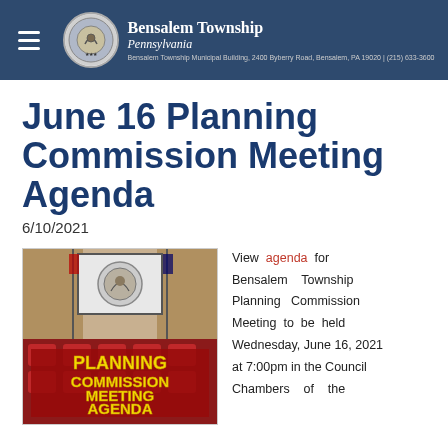Bensalem Township Pennsylvania — Bensalem Township Municipal Building, 2400 Byberry Road, Bensalem, PA 19020
June 16 Planning Commission Meeting Agenda
6/10/2021
[Figure (photo): Photo of a meeting room with red seats, a projector screen showing a seal, and a banner reading PLANNING COMMISSION MEETING AGENDA in yellow bold text on a red background]
View agenda for Bensalem Township Planning Commission Meeting to be held Wednesday, June 16, 2021 at 7:00pm in the Council Chambers of the